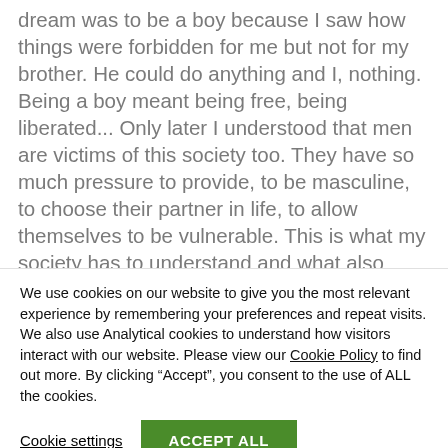dream was to be a boy because I saw how things were forbidden for me but not for my brother. He could do anything and I, nothing. Being a boy meant being free, being liberated... Only later I understood that men are victims of this society too. They have so much pressure to provide, to be masculine, to choose their partner in life, to allow themselves to be vulnerable. This is what my society has to understand and what also drives my art: The desire for an equal society for both men and women and thus, a healthier, happier nation.
We use cookies on our website to give you the most relevant experience by remembering your preferences and repeat visits. We also use Analytical cookies to understand how visitors interact with our website. Please view our Cookie Policy to find out more. By clicking “Accept”, you consent to the use of ALL the cookies.
Cookie settings
ACCEPT ALL